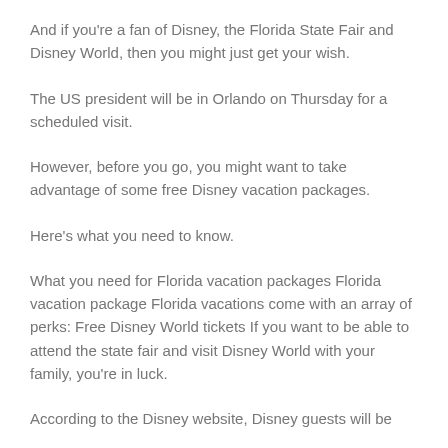And if you're a fan of Disney, the Florida State Fair and Disney World, then you might just get your wish.
The US president will be in Orlando on Thursday for a scheduled visit.
However, before you go, you might want to take advantage of some free Disney vacation packages.
Here's what you need to know.
What you need for Florida vacation packages Florida vacation package Florida vacations come with an array of perks: Free Disney World tickets If you want to be able to attend the state fair and visit Disney World with your family, you're in luck.
According to the Disney website, Disney guests will be